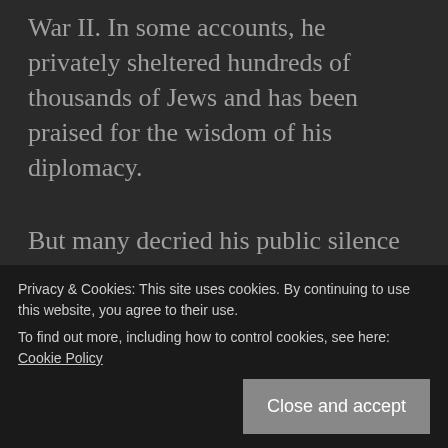War II. In some accounts, he privately sheltered hundreds of thousands of Jews and has been praised for the wisdom of his diplomacy.
But many decried his public silence about what was happening to the Jews.
Ely Wisely believes the pope failed
survivor and a Nobel laureate, said in an
Privacy & Cookies: This site uses cookies. By continuing to use this website, you agree to their use.
To find out more, including how to control cookies, see here: Cookie Policy